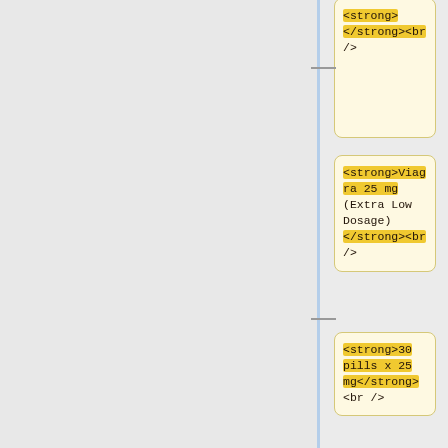<strong>
</strong><br />
<strong>Viagra 25 mg (Extra Low Dosage)</strong><br />
<strong>30 pills x 25 mg</strong><br />
<strong>+4 Free Pills</strong><br />
<strong>$79.96</strong>